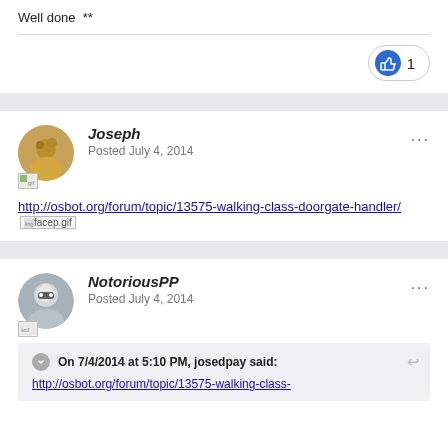Well done **
[Figure (infographic): Like button pill with thumbs up icon and count of 1]
Joseph
Posted July 4, 2014
http://osbot.org/forum/topic/13575-walking-class-doorgate-handler/ [facep.gif]
NotoriousPP
Posted July 4, 2014
On 7/4/2014 at 5:10 PM, josedpay said:
http://osbot.org/forum/topic/13575-walking-class-